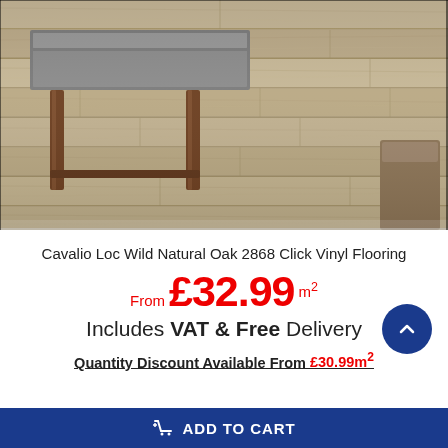[Figure (photo): Room scene showing natural oak vinyl flooring planks laid in a living space with a metal and wood coffee table and furniture legs visible. The floor has a warm grey-brown wood grain pattern.]
Cavalio Loc Wild Natural Oak 2868 Click Vinyl Flooring
From £32.99 m²
Includes VAT & Free Delivery
Quantity Discount Available From £30.99m²
ADD TO CART